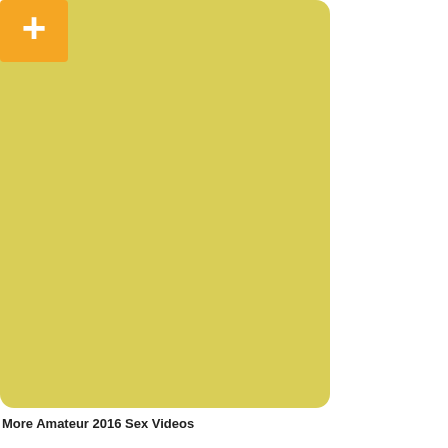[Figure (illustration): A large rounded-rectangle card with a yellow-green background color. In the top-left corner of the card there is an orange square button containing a white plus (+) symbol.]
More Amateur 2016 Sex Videos